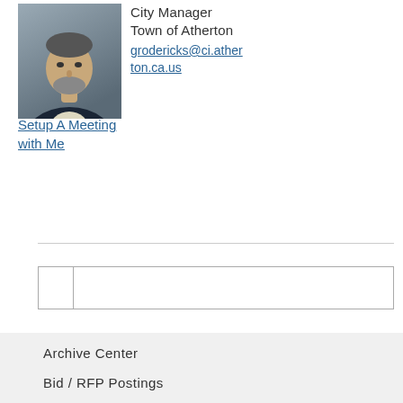[Figure (photo): Professional headshot of a middle-aged man with short gray beard wearing a dark blazer and light shirt, against a gray background]
City Manager
Town of Atherton
grodericks@ci.atherton.ca.us
Setup A Meeting with Me
|  |  |
| --- | --- |
|  |
Archive Center
Bid / RFP Postings